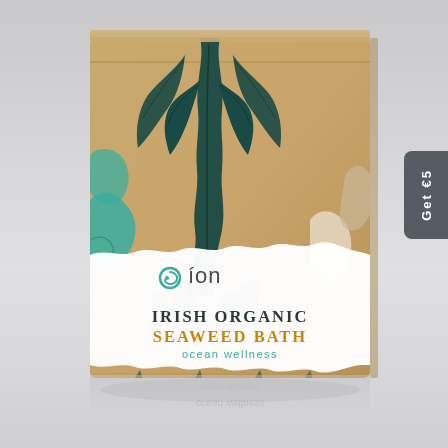[Figure (photo): Product photo of an ion Irish Organic Seaweed Bath box. The box is kraft brown cardboard with a white label band in the middle. The label displays the ion logo (a teal spiral/wave icon), the text 'IRISH ORGANIC SEAWEED BATH' in dark teal/brown serif-style letters, and 'ocean wellness' in teal lowercase. The box is decorated with large seaweed/kelp botanical prints in dark teal and lighter teal/turquoise. The box sits on a light grey reflective surface. On the right side is a small dark grey rounded badge reading 'Get €5'.]